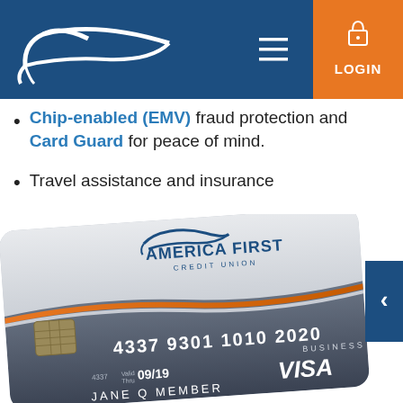[Figure (logo): America First Credit Union logo in white on blue header bar]
Chip-enabled (EMV) fraud protection and Card Guard for peace of mind.
Travel assistance and insurance
[Figure (photo): America First Credit Union Business Visa credit card. Card number: 4337 9301 1010 2020, expiry 09/19, cardholder JANE Q MEMBER. Silver and dark grey design with orange accent stripe, EMV chip, Visa logo.]
[Figure (other): Blue navigation arrow button pointing left]